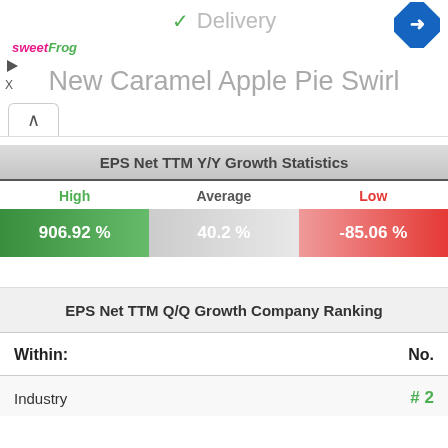✓ Delivery
[Figure (logo): sweetFrog logo in pink and green text]
[Figure (illustration): Blue navigation diamond arrow icon top right]
New Caramel Apple Pie Swirl
EPS Net TTM Y/Y Growth Statistics
| High | Average | Low |
| --- | --- | --- |
| 906.92 % | 40.2 % | -85.06 % |
EPS Net TTM Q/Q Growth Company Ranking
| Within: | No. |
| --- | --- |
| Industry | # 2 |